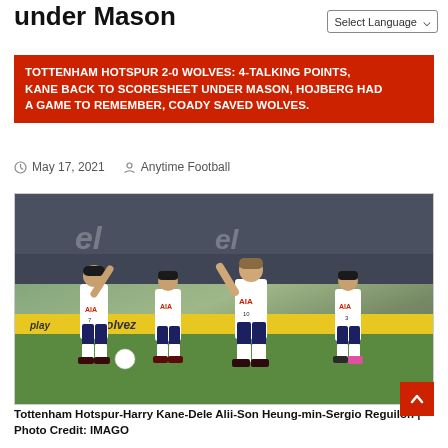under Mason
Select Language
TOTTENHAM HOTSPUR 2-0 WOLVES: 4-TALKING POINTS, KANE BACK TO SCORESHEET UNDER MASON, HOJBERG HAD A GAME TO REMEMBER, COADY SAVED WOLVES.
May 17, 2021  Anytime Football
[Figure (photo): Tottenham Hotspur players celebrating on the football pitch - Harry Kane, Dele Alli, Son Heung-min, Sergio Reguilón wearing white AIA jerseys with numbers 10, 7, and 3]
Tottenham Hotspur-Harry Kane-Dele Alii-Son Heung-min-Sergio Reguilón | Photo Credit: IMAGO